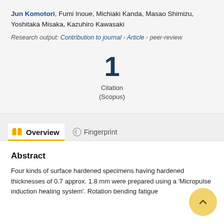Jun Komotori, Fumi Inoue, Michiaki Kanda, Masao Shimizu, Yoshitaka Misaka, Kazuhiro Kawasaki
Research output: Contribution to journal › Article › peer-review
1
Citation
(Scopus)
Overview   Fingerprint
Abstract
Four kinds of surface hardened specimens having hardened thicknesses of 0.7 approx. 1.8 mm were prepared using a 'Micropulse induction heating system'. Rotation bending fatigue